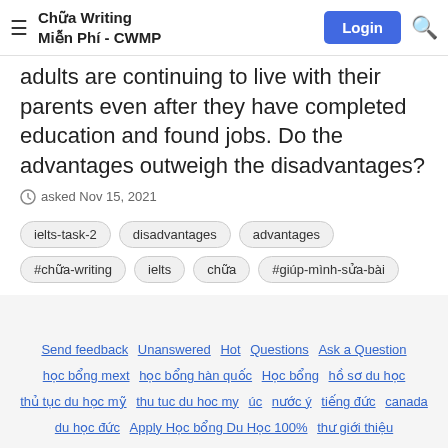Chữa Writing Miễn Phí - CWMP | Login
adults are continuing to live with their parents even after they have completed education and found jobs. Do the advantages outweigh the disadvantages?
asked Nov 15, 2021
ielts-task-2
disadvantages
advantages
#chữa-writing
ielts
chữa
#giúp-mình-sửa-bài
Send feedback  Unanswered  Hot  Questions  Ask a Question  học bổng mext  học bổng hàn quốc  Học bổng  hồ sơ du học  thủ tục du học mỹ  thu tuc du hoc my  úc  nước ý  tiếng đức  canada  du học đức  Apply Học bổng Du Học 100%  thư giới thiệu